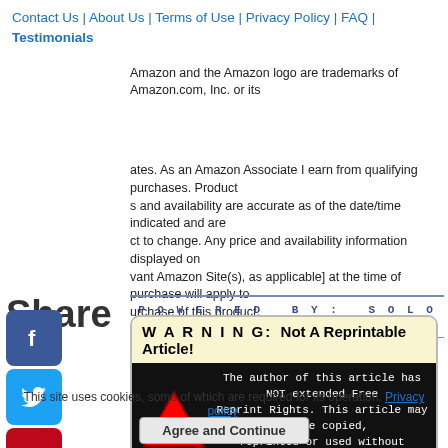Contact Us | About Us | Terms of Use | Privacy Policy | FAQ | Testimonials
Amazon and the Amazon logo are trademarks of Amazon.com, Inc. or its affiliates. As an Amazon Associate I earn from qualifying purchases. Product prices and availability are accurate as of the date/time indicated and are subject to change. Any price and availability information displayed on [relevant Amazon Site(s), as applicable] at the time of purchase will apply to the purchase of this product.
[Figure (infographic): Share label with social media icons: Facebook, Twitter, Pinterest, Tumblr, Reddit, WhatsApp]
[Figure (infographic): POWERED BY: SOLO BUILD IT! banner]
[Figure (infographic): WARNING: Not A Reprintable Article! The author of this article has NOT extended Free Reprint Rights. This article may NOT be copied, reprinted or used without WRITTEN Permission!]
This site uses cookies, some of which are required for its operation. Privacy policy. Agree and Continue